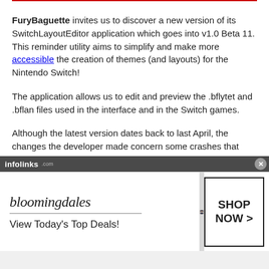FuryBaguette invites us to discover a new version of its SwitchLayoutEditor application which goes into v1.0 Beta 11. This reminder utility aims to simplify and make more accessible the creation of themes (and layouts) for the Nintendo Switch!
The application allows us to edit and preview the .bflytet and .bflan files used in the interface and in the Switch games.
Although the latest version dates back to last April, the changes the developer made concern some crashes that users have reported.
[Figure (screenshot): Bloomingdales advertisement banner with 'infolinks' label, showing bloomingdales logo, 'View Today's Top Deals!' tagline, woman in hat, and 'SHOP NOW >' button]